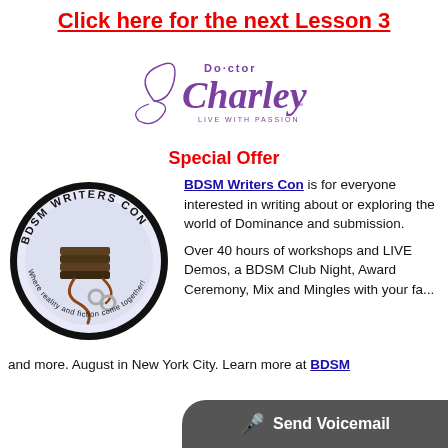Click here for the next Lesson 3
[Figure (logo): Doctor Charley – Live with Passion logo in purple script and serif text]
Special Offer
[Figure (logo): BDSM Writers Con circular badge logo – 'Where reality and fiction come together!']
BDSM Writers Con is for everyone interested in writing about or exploring the world of Dominance and submission.

Over 40 hours of workshops and LIVE Demos, a BDSM Club Night, Award Ceremony, Mix and Mingles with your fa...
and more. August in New York City. Learn more at BDSM